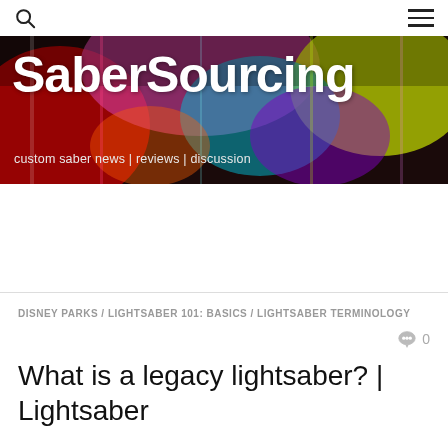[Figure (screenshot): Navigation bar with search icon on left and hamburger menu on right]
[Figure (photo): SaberSourcing website banner with colorful lightsaber background. Large white bold text reads 'SaberSourcing' with subtitle 'custom saber news | reviews | discussion']
DISNEY PARKS / LIGHTSABER 101: BASICS / LIGHTSABER TERMINOLOGY
0
What is a legacy lightsaber? | Lightsaber